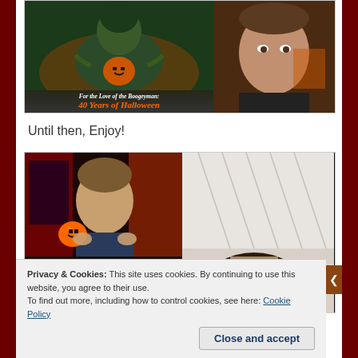[Figure (photo): Movie poster for 'For the Love of the Boogeyman: 40 Years of Halloween' on the left, and a man's face on the right, against dark backgrounds.]
Until then, Enjoy!
[Figure (photo): A man speaking in a Halloween-decorated room with a jack-o-lantern visible, alongside a blurry scene image, and a dark-themed image below.]
Privacy & Cookies: This site uses cookies. By continuing to use this website, you agree to their use.
To find out more, including how to control cookies, see here: Cookie Policy
Close and accept